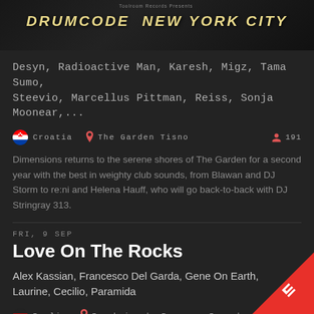[Figure (photo): Drumcode New York City banner/advertisement at top of page]
Desyn, Radioactive Man, Karesh, Migz, Tama Sumo, Steevio, Marcellus Pittman, Reiss, Sonja Moonear,...
Croatia  The Garden Tisno  191
Dimensions returns to the serene shores of The Garden for a second year with the best in weighty club sounds, from Blawan and DJ Storm to re:ni and Helena Hauff, who will go back-to-back with DJ Stringray 313.
FRI, 9 SEP
Love On The Rocks
Alex Kassian, Francesco Del Garda, Gene On Earth, Laurine, Cecilio, Paramida
Berlin  Berghain | Panorama Bar | Säule
FRI, 9 SEP